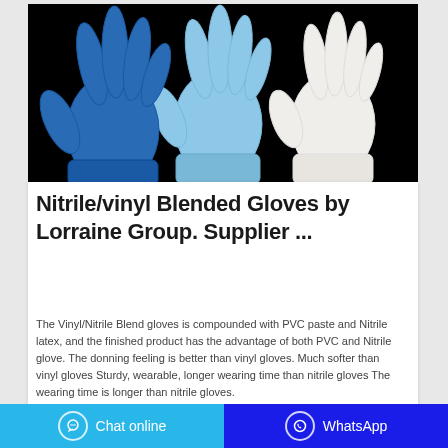[Figure (photo): Three disposable gloves displayed against a black background: one dark blue (nitrile), one light blue (vinyl/nitrile blend), and one white glove, fanned out overlapping each other.]
Nitrile/vinyl Blended Gloves by Lorraine Group. Supplier ...
The Vinyl/Nitrile Blend gloves is compounded with PVC paste and Nitrile latex, and the finished product has the advantage of both PVC and Nitrile glove. The donning feeling is better than vinyl gloves. Much softer than vinyl gloves Sturdy, wearable, longer wearing time than nitrile gloves The wearing time is longer than nitrile gloves.